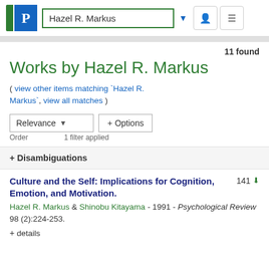Hazel R. Markus
11 found
Works by Hazel R. Markus
( view other items matching `Hazel R. Markus`, view all matches )
Relevance ▼  + Options
Order  1 filter applied
+ Disambiguations
Culture and the Self: Implications for Cognition, Emotion, and Motivation.
Hazel R. Markus & Shinobu Kitayama - 1991 - Psychological Review 98 (2):224-253.
+ details
141
+ details